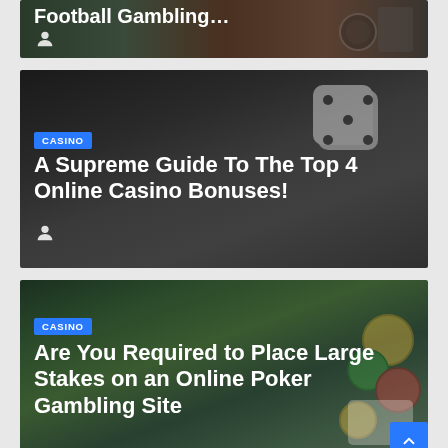[Figure (photo): Partial card showing gambling/football topic with casino chips and cards on green felt background, user avatar icon visible]
[Figure (photo): Dark background with dice, CASINO badge, title 'A Supreme Guide To The Top 4 Online Casino Bonuses!', user avatar icon]
[Figure (photo): Casino table with cards and chips, dealer hands visible, CASINO badge, partial title 'Are You Required to Place Large Stakes on an Online Poker Gambling Site']